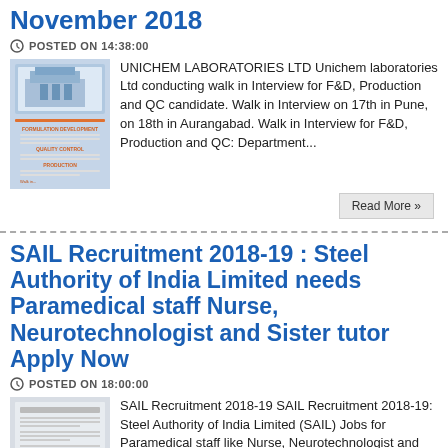November 2018
POSTED ON 14:38:00
[Figure (photo): Image of Unichem Laboratories flyer showing Formulation Development, Quality Control, Production sections and Walk in Interview details]
UNICHEM LABORATORIES LTD Unichem laboratories Ltd conducting walk in Interview for F&D, Production and QC candidate. Walk in Interview on 17th in Pune, on 18th in Aurangabad. Walk in Interview for F&D, Production and QC: Department...
Read More »
SAIL Recruitment 2018-19 : Steel Authority of India Limited needs Paramedical staff Nurse, Neurotechnologist and Sister tutor Apply Now
POSTED ON 18:00:00
[Figure (photo): Image of SAIL Recruitment 2018-19 official document]
SAIL Recruitment 2018-19 SAIL Recruitment 2018-19: Steel Authority of India Limited (SAIL) Jobs for Paramedical staff like Nurse, Neurotechnologist and Sister tutor. Apply online before 4th December 2018 for...